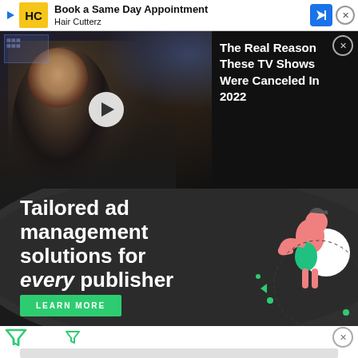[Figure (screenshot): Top banner advertisement for HC Hair Cuttery: 'Book a Same Day Appointment Hair Cutterz' with yellow HC logo, blue navigation arrow icon, and close X button]
[Figure (screenshot): Video thumbnail showing a man in military uniform with a play button overlay, dark space background]
[Figure (screenshot): Video sidebar panel with dark background showing text: 'The Real Reason These TV Shows Were Canceled In 2022' with close X button]
[Figure (screenshot): Advertisement banner: 'Tailored ad management solutions for every publisher' with LEARN MORE button on dark background with illustrated character]
[Figure (screenshot): Filter/funnel icons and close X buttons in the ad controls row]
[Figure (screenshot): Gray placeholder rectangle at bottom of page]